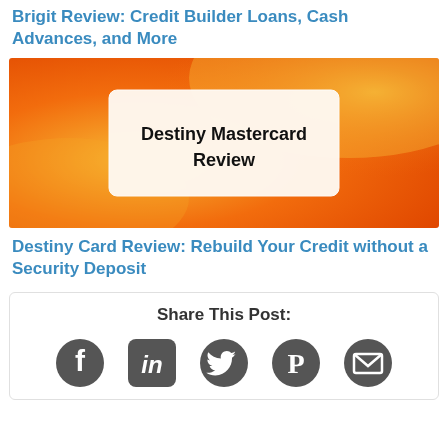Brigit Review: Credit Builder Loans, Cash Advances, and More
[Figure (illustration): Orange gradient background with a white/cream rounded rectangle containing bold black text reading 'Destiny Mastercard Review']
Destiny Card Review: Rebuild Your Credit without a Security Deposit
Share This Post:
[Figure (infographic): Row of social media sharing icons: Facebook, LinkedIn, Twitter, Pinterest, Email]